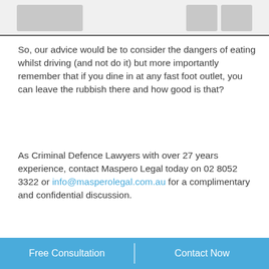[Logo images]
So, our advice would be to consider the dangers of eating whilst driving (and not do it) but more importantly remember that if you dine in at any fast foot outlet, you can leave the rubbish there and how good is that?
As Criminal Defence Lawyers with over 27 years experience, contact Maspero Legal today on 02 8052 3322 or info@masperolegal.com.au for a complimentary and confidential discussion.
Free Consultation    Contact Now